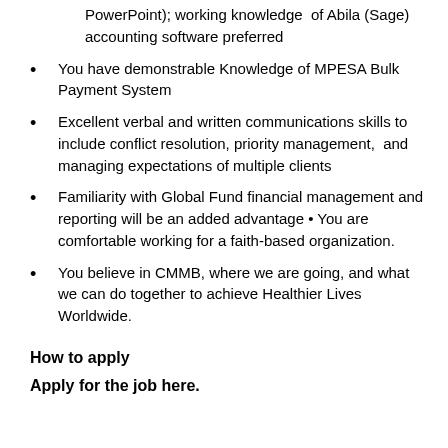PowerPoint); working knowledge of Abila (Sage) accounting software preferred
You have demonstrable Knowledge of MPESA Bulk Payment System
Excellent verbal and written communications skills to include conflict resolution, priority management, and managing expectations of multiple clients
Familiarity with Global Fund financial management and reporting will be an added advantage • You are comfortable working for a faith-based organization.
You believe in CMMB, where we are going, and what we can do together to achieve Healthier Lives Worldwide.
How to apply
Apply for the job here.